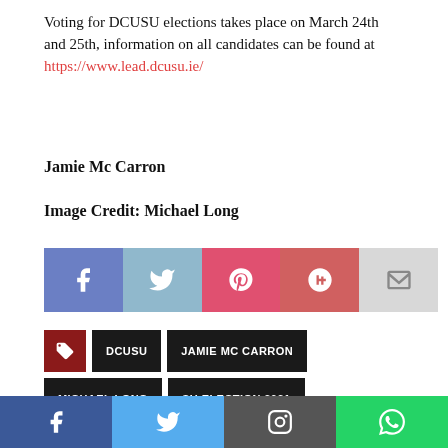Voting for DCUSU elections takes place on March 24th and 25th, information on all candidates can be found at https://www.lead.dcusu.ie/
Jamie Mc Carron
Image Credit: Michael Long
[Figure (infographic): Social share buttons: Facebook (blue-purple), Twitter (light blue), Pinterest (red-pink), Google+ (red), Email (light grey)]
DCUSU   JAMIE MC CARRON   MICHAEL LONG   SU ELECTION 2021   THE COLLEGE VIEW   VP FOR DIVERSITY AND INCLUSION
[Figure (infographic): Bottom social media bar with Facebook (dark blue), Twitter (light blue), Instagram (grey), WhatsApp (green) icons]